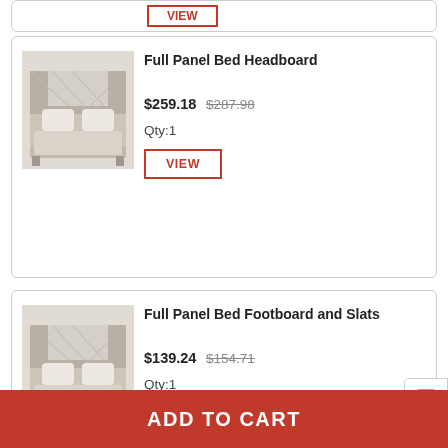[Figure (screenshot): Partial product card visible at top with a VIEW button]
Full Panel Bed Headboard
$259.18 $287.98
Qty:1
VIEW
Full Panel Bed Footboard and Slats
$139.24 $154.71
Qty:1
VIEW
Quantity
1
ADD TO CART
ADD TO CART